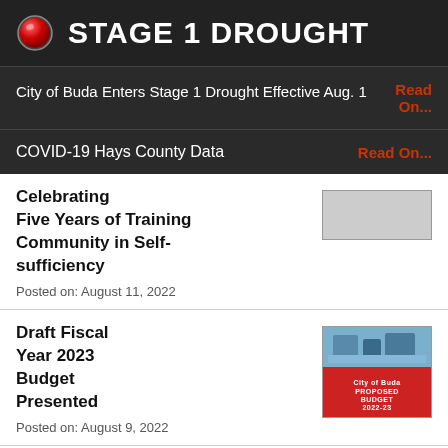STAGE 1 DROUGHT
City of Buda Enters Stage 1 Drought Effective Aug. 1 Read On...
COVID-19 Hays County Data Read On...
Celebrating Five Years of Training Community in Self-sufficiency
Posted on: August 11, 2022
Draft Fiscal Year 2023 Budget Presented
Posted on: August 9, 2022